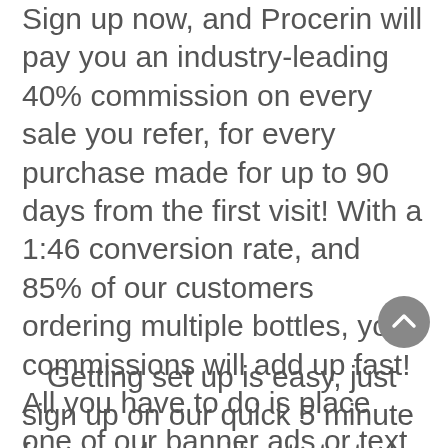Sign up now, and Procerin will pay you an industry-leading 40% commission on every sale you refer, for every purchase made for up to 90 days from the first visit! With a 1:46 conversion rate, and 85% of our customers ordering multiple bottles, your commissions will add up fast! All you have to do is place one of our banner ads or text links on your site. You have access to our custom banners, real-time 3rd party stats tracking, email and chat support, and commissions paid every month! We'll give you your own Affiliate ID, password, and login access to track your performance. Our affiliate program has been in place since 2002, and we always pay on time.
Getting set up is easy, just sign up on our quick 5 minute form, and we will get started immediately. Your status will be approved within 4 hours and we'll email you everything you need to start.